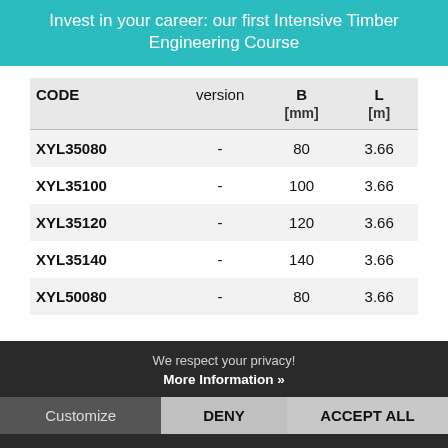Invest in your career: our first Intensive Timber Engineering Course
| CODE | version | B [mm] | L [m] |
| --- | --- | --- | --- |
| XYL35080 | - | 80 | 3.66 |
| XYL35100 | - | 100 | 3.66 |
| XYL35120 | - | 120 | 3.66 |
| XYL35140 | - | 140 | 3.66 |
| XYL50080 | - | 80 | 3.66 |
We respect your privacy! More Information »
Customize  DENY  ACCEPT ALL